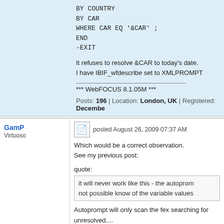BY COUNTRY
BY CAR
WHERE CAR EQ '&CAR' ;
END
-EXIT
It refuses to resolve &CAR to today's date.
I have IBIF_wfdescribe set to XMLPROMPT
*** WebFOCUS 8.1.05M ***
Posts: 196 | Location: London, UK | Registered: Decembe
GamP
Virtuoso
posted August 26, 2009 07:37 AM
Which would be a correct observation.
See my previous post:
quote:
it will never work like this - the autoprom
not possible know of the variable values
Autoprompt will only scan the fex searching for
unresolved....
GamP
- Using AS 8.2.01 on Windows 10 - IE11.